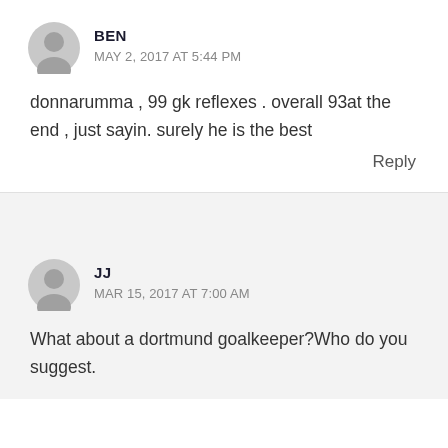BEN
MAY 2, 2017 AT 5:44 PM
donnarumma , 99 gk reflexes . overall 93at the end , just sayin. surely he is the best
Reply
JJ
MAR 15, 2017 AT 7:00 AM
What about a dortmund goalkeeper?Who do you suggest.